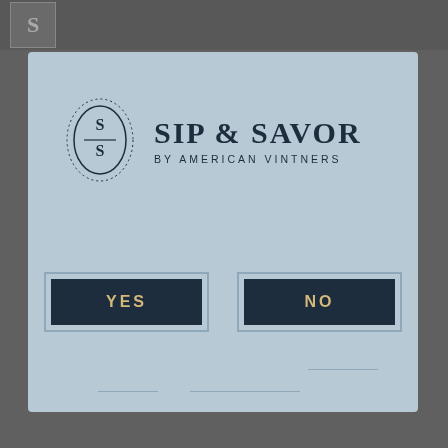[Figure (logo): Sip & Savor by American Vintners logo — oval badge with S/S monogram and dotted border, beside bold serif text 'SIP & SAVOR' with subtitle 'BY AMERICAN VINTNERS']
YES
NO